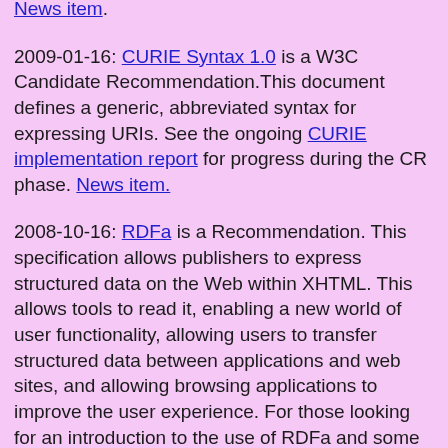News item.
2009-01-16: CURIE Syntax 1.0 is a W3C Candidate Recommendation.This document defines a generic, abbreviated syntax for expressing URIs. See the ongoing CURIE implementation report for progress during the CR phase. News item.
2008-10-16: RDFa is a Recommendation. This specification allows publishers to express structured data on the Web within XHTML. This allows tools to read it, enabling a new world of user functionality, allowing users to transfer structured data between applications and web sites, and allowing browsing applications to improve the user experience. For those looking for an introduction to the use of RDFa and some real-world examples, please consult the updated RDFa Primer.
2008-10-08: XHTML Modularization 1.1 is a W3C Recommendation. The main change in this version is addition of support for XML